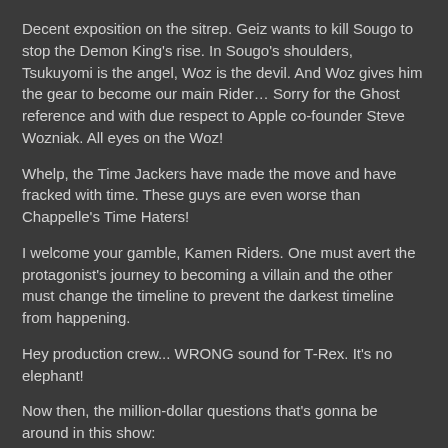Decent exposition on the sitrep. Geiz wants to kill Sougo to stop the Demon King's rise. In Sougo's shoulders, Tsukuyomi is the angel, Woz is the devil. And Woz gives him the gear to become our main Rider… Sorry for the Ghost reference and with due respect to Apple co-founder Steve Wozniak. All eyes on the Woz!
Whelp, the Time Jackers have made the move and have fracked with time. These guys are even worse than Chappelle's Time Haters!
I welcome your gamble, Kamen Riders. One must avert the protagonist's journey to becoming a villain and the other must change the timeline to prevent the darkest timeline from happening.
Hey production crew... WRONG sound for T-Rex. It's no elephant!
Now then, the million-dollar questions that's gonna be around in this show:
Who dropped off Sougo's Ridewatch??
What was the catalyst to the Demon King's Face-Heel turn??
Why is Woz so eager to be Sougo's hype man??
Is Woz a contingency unit deployed by the Demon King in the event that